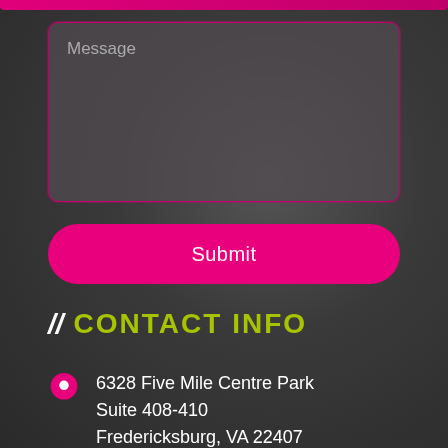[Figure (screenshot): Message text area input box with placeholder text 'Message', dark background with pink border]
[Figure (screenshot): Submit button — bright pink/magenta rounded rectangle with white 'Submit' text]
// CONTACT INFO
6328 Five Mile Centre Park
Suite 408-410
Fredericksburg, VA 22407